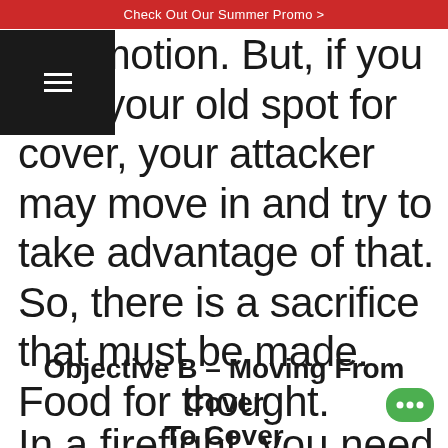Check Out Our Summer Promo >
commotion. But, if you stay your old spot for cover, your attacker may move in and try to take advantage of that. So, there is a sacrifice that must be made. Food for thought.
Objective B – Moving From Cover To Cover
In a firefight, you need to